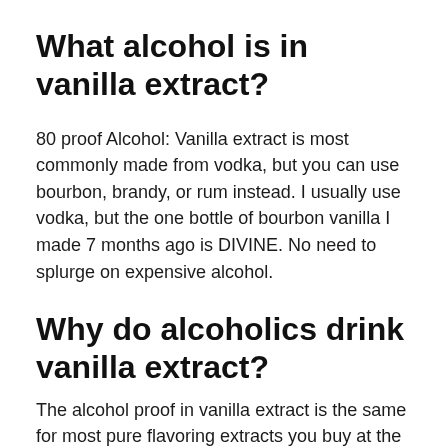What alcohol is in vanilla extract?
80 proof Alcohol: Vanilla extract is most commonly made from vodka, but you can use bourbon, brandy, or rum instead. I usually use vodka, but the one bottle of bourbon vanilla I made 7 months ago is DIVINE. No need to splurge on expensive alcohol.
Why do alcoholics drink vanilla extract?
The alcohol proof in vanilla extract is the same for most pure flavoring extracts you buy at the store. When used for cooking, the